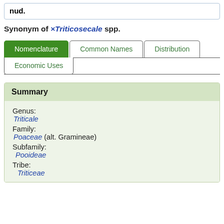nud.
Synonym of ×Triticosecale spp.
[Figure (screenshot): Tab navigation with tabs: Nomenclature (active/green), Common Names, Distribution, Economic Uses]
Summary
Genus:
Triticale
Family:
Poaceae (alt. Gramineae)
Subfamily:
Pooideae
Tribe:
Triticeae